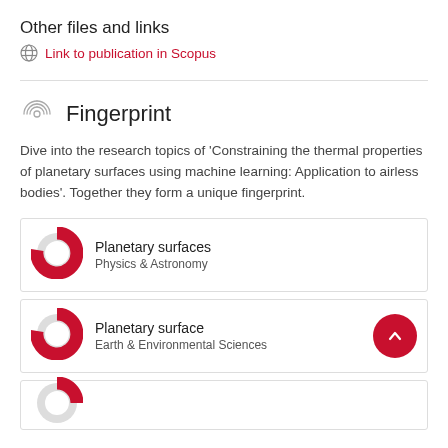Other files and links
Link to publication in Scopus
Fingerprint
Dive into the research topics of 'Constraining the thermal properties of planetary surfaces using machine learning: Application to airless bodies'. Together they form a unique fingerprint.
Planetary surfaces
Physics & Astronomy
Planetary surface
Earth & Environmental Sciences